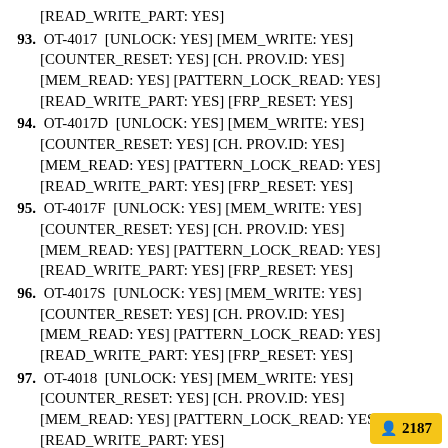[READ_WRITE_PART: YES]
93. OT-4017  [UNLOCK: YES] [MEM_WRITE: YES] [COUNTER_RESET: YES] [CH. PROV.ID: YES] [MEM_READ: YES] [PATTERN_LOCK_READ: YES] [READ_WRITE_PART: YES] [FRP_RESET: YES]
94. OT-4017D  [UNLOCK: YES] [MEM_WRITE: YES] [COUNTER_RESET: YES] [CH. PROV.ID: YES] [MEM_READ: YES] [PATTERN_LOCK_READ: YES] [READ_WRITE_PART: YES] [FRP_RESET: YES]
95. OT-4017F  [UNLOCK: YES] [MEM_WRITE: YES] [COUNTER_RESET: YES] [CH. PROV.ID: YES] [MEM_READ: YES] [PATTERN_LOCK_READ: YES] [READ_WRITE_PART: YES] [FRP_RESET: YES]
96. OT-4017S  [UNLOCK: YES] [MEM_WRITE: YES] [COUNTER_RESET: YES] [CH. PROV.ID: YES] [MEM_READ: YES] [PATTERN_LOCK_READ: YES] [READ_WRITE_PART: YES] [FRP_RESET: YES]
97. OT-4018  [UNLOCK: YES] [MEM_WRITE: YES] [COUNTER_RESET: YES] [CH. PROV.ID: YES] [MEM_READ: YES] [PATTERN_LOCK_READ: YES] [READ_WRITE_PART: YES]
98. OT-4018D  [UNLOCK: YES] [MEM_WRITE: YES] [COUNTER_RESET: YES] [CH. PROV.ID: YES] [MEM_READ: YES] [PATTERN_LOCK_READ: YES] [READ_WRITE_PART: YES]